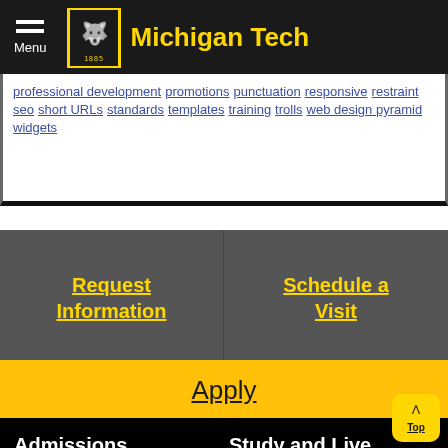Michigan Tech
professional development promotions punctuation responsive restraint seo short URLs standards templates training trolls web design pyramid widgets
Request Information
Schedule a Visit
Apply
Admissions
Study and Live
Undergraduate Admissions
Degrees / Majors
Graduate Admissions
Colleges and Departments
Global Campus
Library